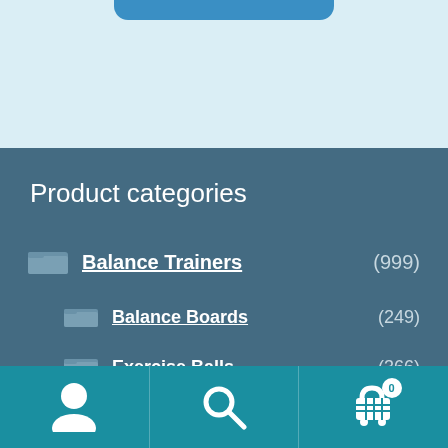[Figure (screenshot): Light blue banner at top of page with a blue rounded button partially visible]
Product categories
Balance Trainers (999)
Balance Boards (249)
Exercise Balls (366)
Foam Rollers (241)
[Figure (screenshot): Bottom navigation bar with user/account icon, search icon, and shopping cart icon with badge showing 0]